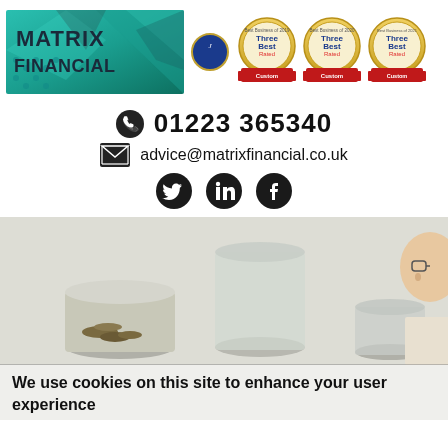[Figure (logo): Matrix Financial logo with teal/green geometric background and white text reading MATRIX FINANCIAL]
[Figure (logo): Blue circular badge with gold border, appears to be a professional accreditation badge]
[Figure (logo): Three ThreeBest Rated award badges for Best Business of 2019, 2020, and another year]
01223 365340
advice@matrixfinancial.co.uk
[Figure (illustration): Social media icons: Twitter, LinkedIn, Facebook]
[Figure (photo): Photo of glass jars containing coins with a child looking at them]
We use cookies on this site to enhance your user experience